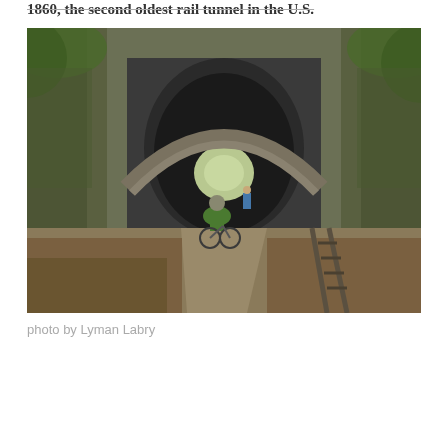1860, the second oldest rail tunnel in the U.S.
[Figure (photo): A cyclist in a green jacket and helmet rides along a gravel path toward a stone-arched railroad tunnel surrounded by lush greenery and moss-covered rock walls. Railroad tracks run alongside the path. Another person in blue is visible near the tunnel entrance. Fallen leaves cover the ground.]
photo by Lyman Labry